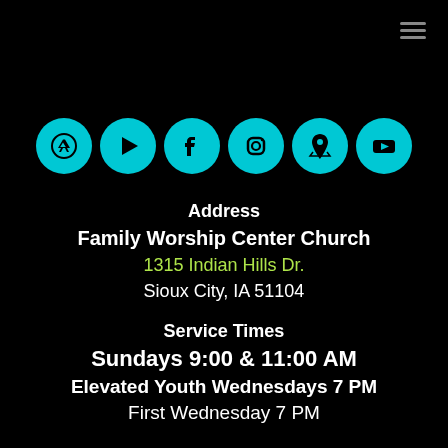[Figure (infographic): Six cyan circular social media / app icons in a row: App Store, Google Play, Facebook, Instagram, Maps, YouTube]
Address
Family Worship Center Church
1315 Indian Hills Dr.
Sioux City, IA 51104
Service Times
Sundays 9:00 & 11:00 AM
Elevated Youth Wednesdays 7 PM
First Wednesday 7 PM